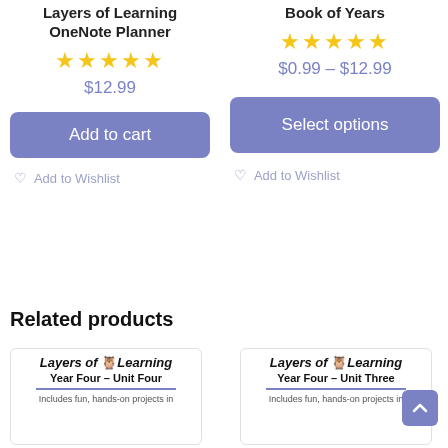Layers of Learning OneNote Planner
★★★★★
$12.99
Add to cart
♡ Add to Wishlist
Book of Years
★★★★★
$0.99 – $12.99
Select options
♡ Add to Wishlist
Related products
[Figure (screenshot): Product card for Layers of Learning Year Four - Unit Four with logo and description text]
[Figure (screenshot): Product card for Layers of Learning Year Four - Unit Three with logo and description text]